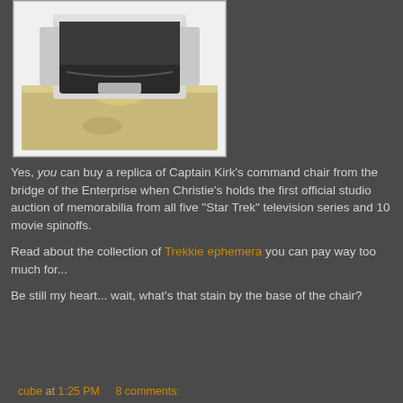[Figure (photo): Captain Kirk's command chair replica from Star Trek, shown with white/gray frame, dark leather seat, and beige carpeted base platform]
Yes, you can buy a replica of Captain Kirk's command chair from the bridge of the Enterprise when Christie's holds the first official studio auction of memorabilia from all five "Star Trek" television series and 10 movie spinoffs.
Read about the collection of Trekkie ephemera you can pay way too much for...
Be still my heart... wait, what's that stain by the base of the chair?
cube at 1:25 PM    8 comments: